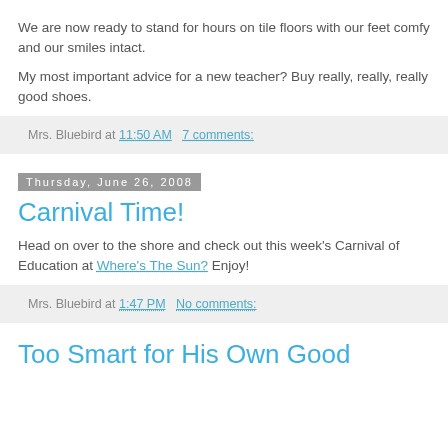We are now ready to stand for hours on tile floors with our feet comfy and our smiles intact.
My most important advice for a new teacher? Buy really, really, really good shoes.
Mrs. Bluebird at 11:50 AM   7 comments:
Thursday, June 26, 2008
Carnival Time!
Head on over to the shore and check out this week's Carnival of Education at Where's The Sun? Enjoy!
Mrs. Bluebird at 1:47 PM   No comments:
Too Smart for His Own Good